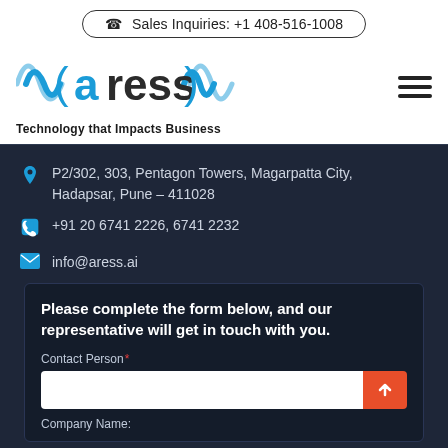Sales Inquiries: +1 408-516-1008
[Figure (logo): Aress logo with radio wave symbols and tagline 'Technology that Impacts Business']
P2/302, 303, Pentagon Towers, Magarpatta City, Hadapsar, Pune – 411028
+91 20 6741 2226, 6741 2232
info@aress.ai
Please complete the form below, and our representative will get in touch with you.
Contact Person:
Company Name: